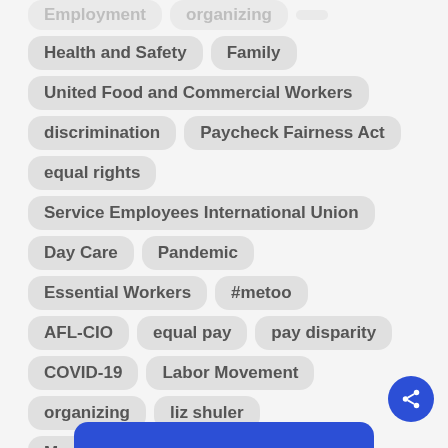Health and Safety
Family
United Food and Commercial Workers
discrimination
Paycheck Fairness Act
equal rights
Service Employees International Union
Day Care
Pandemic
Essential Workers
#metoo
AFL-CIO
equal pay
pay disparity
COVID-19
Labor Movement
organizing
liz shuler
Mary Kay Heart